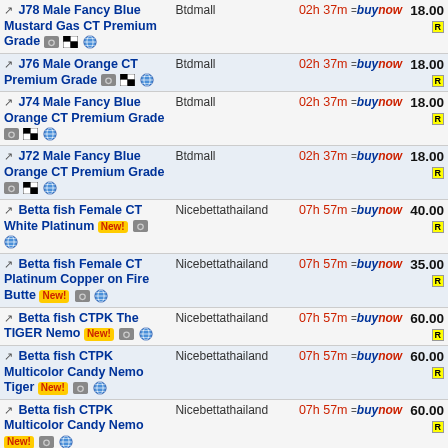| Item | Seller | Time | Price |
| --- | --- | --- | --- |
| J78 Male Fancy Blue Mustard Gas CT Premium Grade | Btdmall | 02h 37m | 18.00 |
| J76 Male Orange CT Premium Grade | Btdmall | 02h 37m | 18.00 |
| J74 Male Fancy Blue Orange CT Premium Grade | Btdmall | 02h 37m | 18.00 |
| J72 Male Fancy Blue Orange CT Premium Grade | Btdmall | 02h 37m | 18.00 |
| Betta fish Female CT White Platinum | Nicebettathailand | 07h 57m | 40.00 |
| Betta fish Female CT Platinum Copper on Fire Butte | Nicebettathailand | 07h 57m | 35.00 |
| Betta fish CTPK The TIGER Nemo | Nicebettathailand | 07h 57m | 60.00 |
| Betta fish CTPK Multicolor Candy Nemo Tiger | Nicebettathailand | 07h 57m | 60.00 |
| Betta fish CTPK Multicolor Candy Nemo | Nicebettathailand | 07h 57m | 60.00 |
| Betta fish CT Super Black Orchid | Nicebettathailand | 07h 57m | 35.00 |
| J80 Male Blue Orange CT Premium Grade | Btdmall | 10h 36m | 18.00 |
| J80 Male Fancy Blue... | Btdmall | 10h 37m | 15.00 |